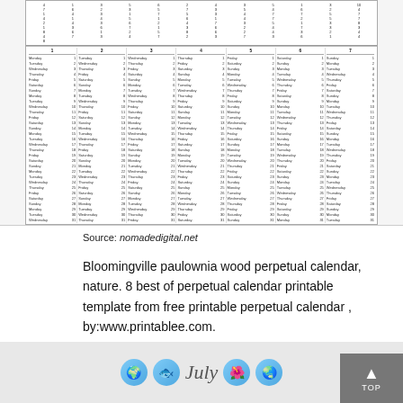[Figure (table-as-image): Perpetual calendar table showing days of the week (columns 1-7) with dates 1-31 for each starting day configuration, plus a top numerical grid of year codes.]
Source: nomadedigital.net
Bloomingville paulownia wood perpetual calendar, nature. 8 best of perpetual calendar printable template from free printable perpetual calendar , by:www.printablee.com.
[Figure (photo): Bottom preview image of a July calendar with decorative icons including globes and a fish, with 'July' text in italic script.]